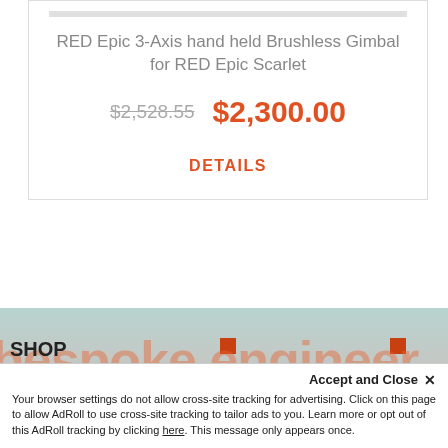RED Epic 3-Axis hand held Brushless Gimbal for RED Epic Scarlet
$2,528.55  $2,300.00
DETAILS
[Figure (screenshot): Website banner with overlapping text 'bespoke engineer' and 'brushless motor s' in large orange watermark-style text over a teal/grey background. Navigation labels 'SHOP', 'Home', 'Featured' visible on the left side.]
Accept and Close ×
Your browser settings do not allow cross-site tracking for advertising. Click on this page to allow AdRoll to use cross-site tracking to tailor ads to you. Learn more or opt out of this AdRoll tracking by clicking here. This message only appears once.